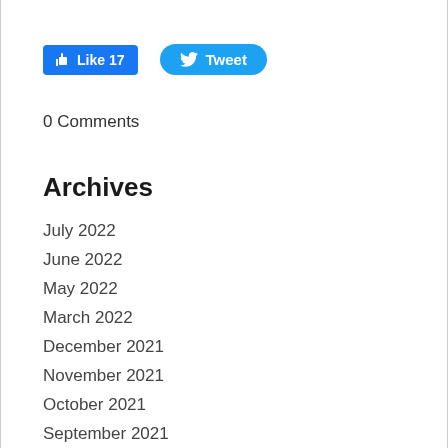[Figure (other): Social media buttons: Facebook Like button showing 17 likes and Twitter Tweet button]
0 Comments
Archives
July 2022
June 2022
May 2022
March 2022
December 2021
November 2021
October 2021
September 2021
August 2021
July 2021
June 2021
May 2021
April 2021
March 2021